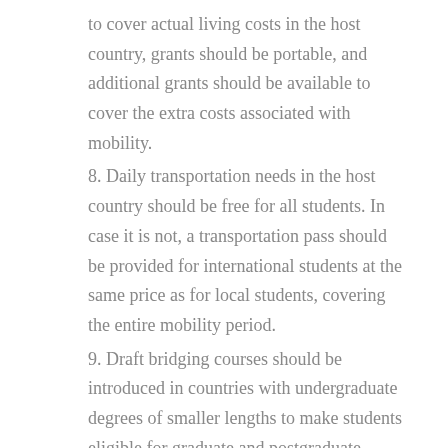to cover actual living costs in the host country, grants should be portable, and additional grants should be available to cover the extra costs associated with mobility.
8. Daily transportation needs in the host country should be free for all students. In case it is not, a transportation pass should be provided for international students at the same price as for local students, covering the entire mobility period.
9. Draft bridging courses should be introduced in countries with undergraduate degrees of smaller lengths to make students eligible for graduate and postgraduate degrees in other countries.